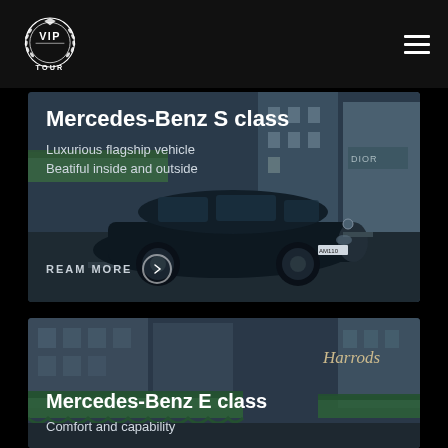[Figure (logo): VIP TOUR logo — circular wreath with VIP text inside and TOUR text below, white on dark background]
[Figure (photo): Mercedes-Benz S class black luxury sedan parked on a city street, with shop fronts including Dior visible in the background]
Mercedes-Benz S class
Luxurious flagship vehicle
Beatiful inside and outside
REAM MORE
[Figure (photo): Street scene outside Harrods department store with green awnings, buildings in background]
Mercedes-Benz E class
Comfort and capability